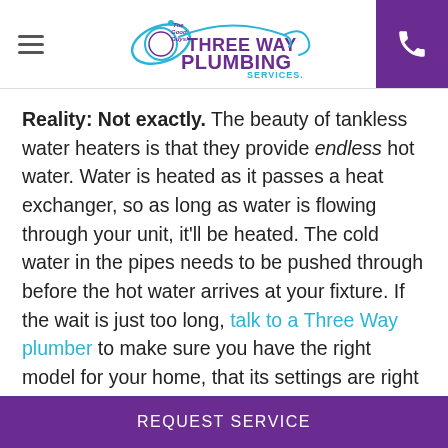[Figure (logo): Three Way Plumbing Services logo with 'The Good Guys!' tagline and decorative orbital/planet graphic in purple and teal]
Reality: Not exactly. The beauty of tankless water heaters is that they provide endless hot water. Water is heated as it passes a heat exchanger, so as long as water is flowing through your unit, it'll be heated. The cold water in the pipes needs to be pushed through before the hot water arrives at your fixture. If the wait is just too long, talk to a Three Way plumber to make sure you have the right model for your home, that its settings are right for your needs.
REQUEST SERVICE